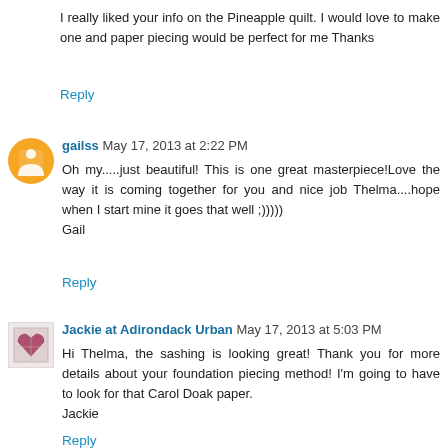I really liked your info on the Pineapple quilt. I would love to make one and paper piecing would be perfect for me Thanks
Reply
gailss May 17, 2013 at 2:22 PM
Oh my.....just beautiful! This is one great masterpiece!Love the way it is coming together for you and nice job Thelma....hope when I start mine it goes that well ;))))) Gail
Reply
Jackie at Adirondack Urban May 17, 2013 at 5:03 PM
Hi Thelma, the sashing is looking great! Thank you for more details about your foundation piecing method! I'm going to have to look for that Carol Doak paper. Jackie
Reply